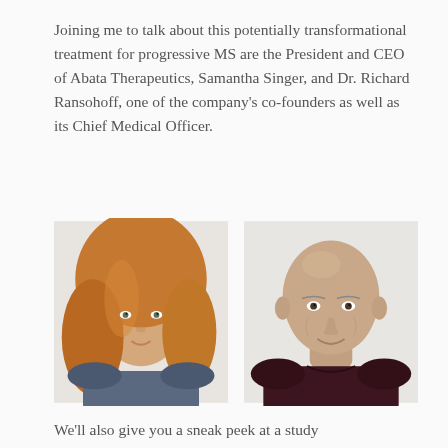Joining me to talk about this potentially transformational treatment for progressive MS are the President and CEO of Abata Therapeutics, Samantha Singer, and Dr. Richard Ransohoff, one of the company's co-founders as well as its Chief Medical Officer.
[Figure (photo): Two portrait photos side by side: on the left, a woman with long auburn/red wavy hair wearing a blue-grey top; on the right, a bald man wearing a dark maroon sweater, both smiling at the camera against light backgrounds.]
We'll also give you a sneak peek at a study